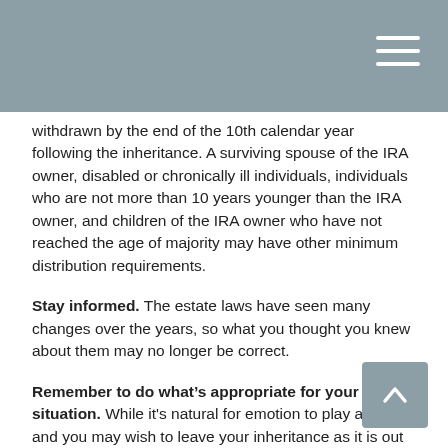withdrawn by the end of the 10th calendar year following the inheritance. A surviving spouse of the IRA owner, disabled or chronically ill individuals, individuals who are not more than 10 years younger than the IRA owner, and children of the IRA owner who have not reached the age of majority may have other minimum distribution requirements.
Stay informed. The estate laws have seen many changes over the years, so what you thought you knew about them may no longer be correct.
Remember to do what’s appropriate for your situation. While it's natural for emotion to play a part and you may wish to leave your inheritance as it is out of respect for your relative, what happens if the inheritance isn't appropriate for your financial situation? A financial professional can help determine if the inheritance fits with